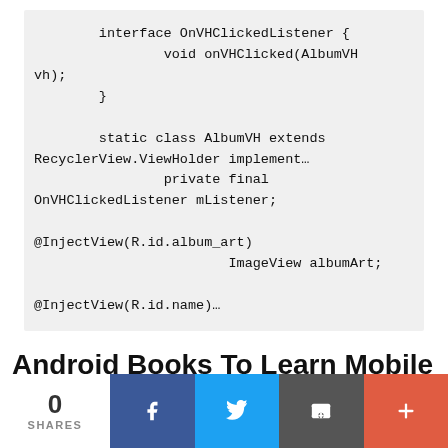interface OnVHClickedListener {
                void onVHClicked(AlbumVH vh);
        }

        static class AlbumVH extends RecyclerView.ViewHolder implement…
                        private final OnVHClickedListener mListener;
                        @InjectView(R.id.album_art)
                        ImageView albumArt;
                        @InjectView(R.id.name)…
Android Books To Learn Mobile Apps
0 SHARES